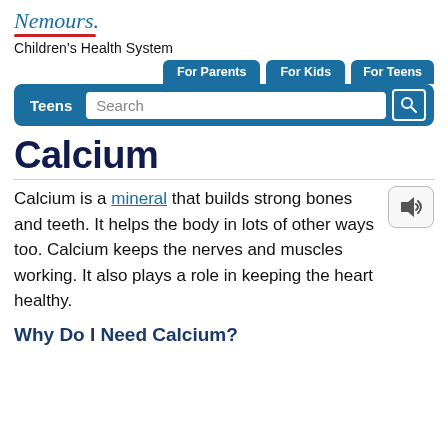[Figure (logo): Nemours Children's Health System logo with red underline]
For Parents | For Kids | For Teens navigation tabs, Teens Search bar
Calcium
Calcium is a mineral that builds strong bones and teeth. It helps the body in lots of other ways too. Calcium keeps the nerves and muscles working. It also plays a role in keeping the heart healthy.
Why Do I Need Calcium?